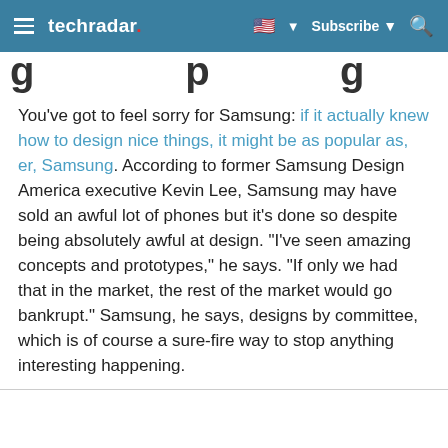techradar
You've got to feel sorry for Samsung: if it actually knew how to design nice things, it might be as popular as, er, Samsung. According to former Samsung Design America executive Kevin Lee, Samsung may have sold an awful lot of phones but it's done so despite being absolutely awful at design. "I've seen amazing concepts and prototypes," he says. "If only we had that in the market, the rest of the market would go bankrupt." Samsung, he says, designs by committee, which is of course a sure-fire way to stop anything interesting happening.